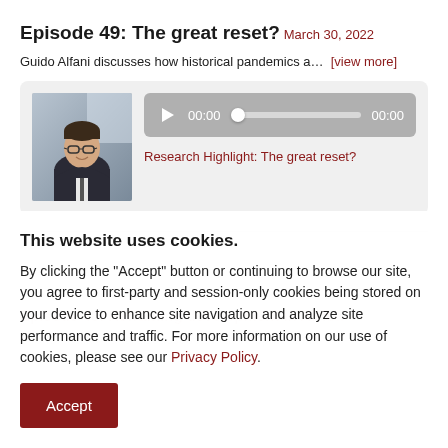Episode 49: The great reset?
March 30, 2022
Guido Alfani discusses how historical pandemics a…  [view more]
[Figure (other): Audio player card with a photo of a man wearing glasses and a suit, an audio progress bar showing 00:00 and 00:00, and a link labeled 'Research Highlight: The great reset?']
Episode 48: Reframing development in Africa
This website uses cookies.
By clicking the "Accept" button or continuing to browse our site, you agree to first-party and session-only cookies being stored on your device to enhance site navigation and analyze site performance and traffic. For more information on our use of cookies, please see our Privacy Policy.
Accept